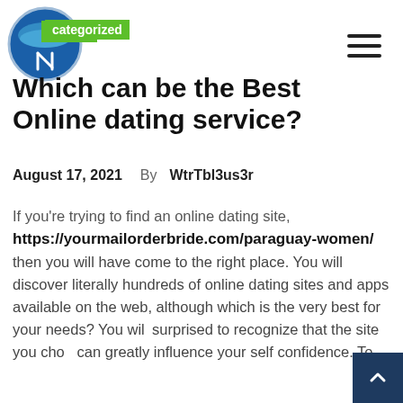[Figure (logo): Circular logo with blue wave and fork/spoon icon, with green label 'categorized']
Which can be the Best Online dating service?
August 17, 2021   By WtrTbl3us3r
If you're trying to find an online dating site, https://yourmailorderbride.com/paraguay-women/ then you will have come to the right place. You will discover literally hundreds of online dating sites and apps available on the web, although which is the very best for your needs? You will be surprised to recognize that the site you choose can greatly influence your self confidence. To